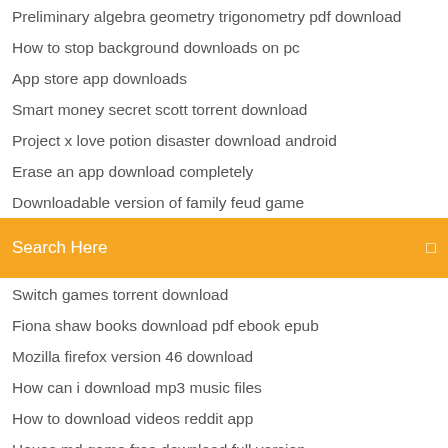Preliminary algebra geometry trigonometry pdf download
How to stop background downloads on pc
App store app downloads
Smart money secret scott torrent download
Project x love potion disaster download android
Erase an app download completely
Downloadable version of family feud game
[Figure (screenshot): Orange search bar with text 'Search Here' and a search icon on the right]
Switch games torrent download
Fiona shaw books download pdf ebook epub
Mozilla firefox version 46 download
How can i download mp3 music files
How to download videos reddit app
House md game free download full version
Scooby doo papa mp4 download
Download drivers for hl-l2370dw
Situs download aplikasi pc atau laptop lengkap terbaru
Download brother driver hl-l6180dw